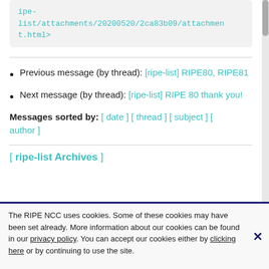ipe-list/attachments/20200520/2ca83b09/attachment.html>
Previous message (by thread): [ripe-list] RIPE80, RIPE81
Next message (by thread): [ripe-list] RIPE 80 thank you!
Messages sorted by: [ date ] [ thread ] [ subject ] [ author ]
[ ripe-list Archives ]
The RIPE NCC uses cookies. Some of these cookies may have been set already. More information about our cookies can be found in our privacy policy. You can accept our cookies either by clicking here or by continuing to use the site.